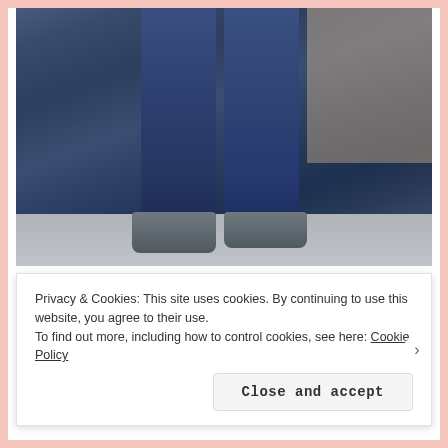[Figure (photo): Close-up photo of a person wearing dark blue denim jeans, showing legs from mid-thigh down, standing on a concrete surface with metallic/chrome shoes or shoe covers visible at the bottom.]
From my last pair I made a large calf adjustment
Privacy & Cookies: This site uses cookies. By continuing to use this website, you agree to their use.
To find out more, including how to control cookies, see here: Cookie Policy
Close and accept